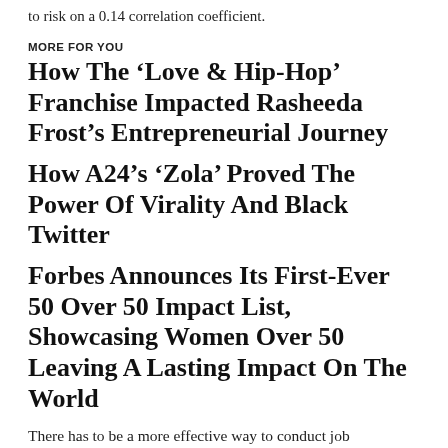to risk on a 0.14 correlation coefficient.
MORE FOR YOU
How The ‘Love & Hip-Hop’ Franchise Impacted Rasheeda Frost’s Entrepreneurial Journey
How A24’s ‘Zola’ Proved The Power Of Virality And Black Twitter
Forbes Announces Its First-Ever 50 Over 50 Impact List, Showcasing Women Over 50 Leaving A Lasting Impact On The World
There has to be a more effective way to conduct job interviews. Well, there is, and it’s a strategy called behavioral interviewing. It all starts with the questions.